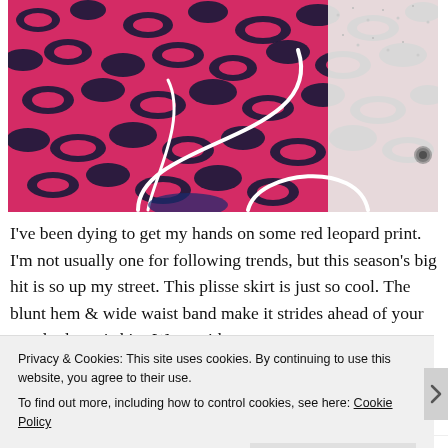[Figure (photo): Close-up photograph of a bright red/pink leopard print fabric (plisse skirt) with dark navy animal print pattern, white headphone cord visible in frame, white textured wall in background.]
I've been dying to get my hands on some red leopard print. I'm not usually one for following trends, but this season's big hit is so up my street. This plisse skirt is just so cool. The blunt hem & wide waist band make it strides ahead of your standard maxi skirt. Worn with a
Privacy & Cookies: This site uses cookies. By continuing to use this website, you agree to their use.
To find out more, including how to control cookies, see here: Cookie Policy
Close and accept